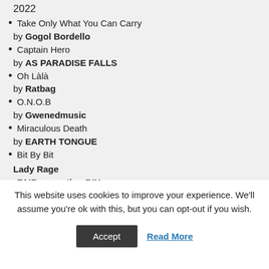2022
Take Only What You Can Carry
by Gogol Bordello
Captain Hero
by AS PARADISE FALLS
Oh Làlà
by Ratbag
O.N.O.B
by Gwenedmusic
Miraculous Death
by EARTH TONGUE
Bit By Bit
Lady Rage
FAIR mercatino DIY
ROCK FIGHTS CANCER
Seconda Edizione
Untitled
This website uses cookies to improve your experience. We'll assume you're ok with this, but you can opt-out if you wish.
Accept
Read More